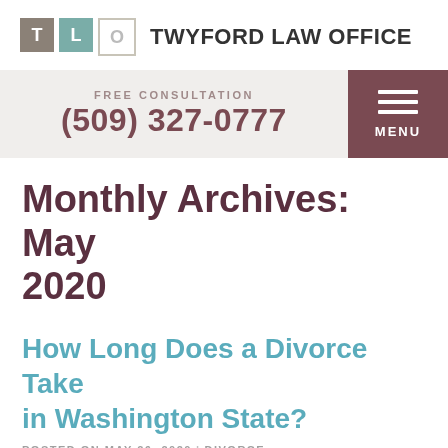[Figure (logo): Twyford Law Office logo with three colored squares labeled T, L, O and firm name text]
FREE CONSULTATION
(509) 327-0777
MENU
Monthly Archives: May 2020
How Long Does a Divorce Take in Washington State?
POSTED ON MAY 26, 2020 | DIVORCE